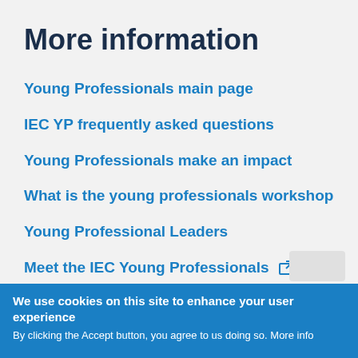More information
Young Professionals main page
IEC YP frequently asked questions
Young Professionals make an impact
What is the young professionals workshop
Young Professional Leaders
Meet the IEC Young Professionals
We use cookies on this site to enhance your user experience
By clicking the Accept button, you agree to us doing so. More info